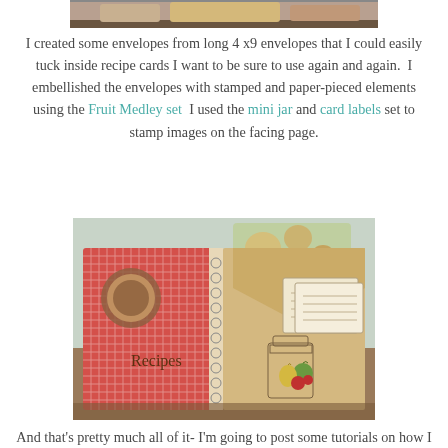[Figure (photo): Top portion of a crafted recipe book photo, partially visible at the top of the page]
I created some envelopes from long 4 x9 envelopes that I could easily tuck inside recipe cards I want to be sure to use again and again.  I embellished the envelopes with stamped and paper-pieced elements using the Fruit Medley set  I used the mini jar and card labels set to stamp images on the facing page.
[Figure (photo): Open handmade recipe book showing two pages: left page has red gingham pattern with a circular embellishment, right page has kraft/tan paper with a stamped mason jar and fruit illustration, plus recipe cards tucked into an envelope]
And that's pretty much all of it- I'm going to post some tutorials on how I converted my recipe pages from the